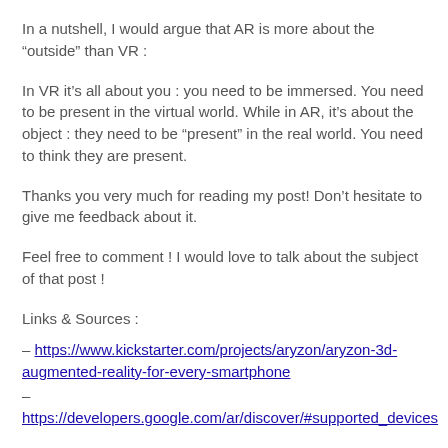In a nutshell, I would argue that AR is more about the “outside” than VR :
In VR it’s all about you : you need to be immersed. You need to be present in the virtual world. While in AR, it’s about the object : they need to be “present” in the real world. You need to think they are present.
Thanks you very much for reading my post! Don’t hesitate to give me feedback about it.
Feel free to comment ! I would love to talk about the subject of that post !
Links & Sources :
– https://www.kickstarter.com/projects/aryzon/aryzon-3d-augmented-reality-for-every-smartphone
– https://developers.google.com/ar/discover/#supported_devices